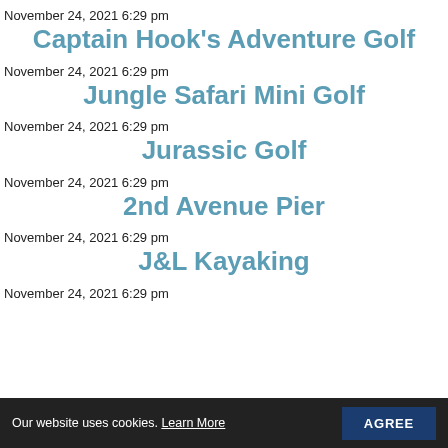November 24, 2021 6:29 pm
Captain Hook's Adventure Golf
November 24, 2021 6:29 pm
Jungle Safari Mini Golf
November 24, 2021 6:29 pm
Jurassic Golf
November 24, 2021 6:29 pm
2nd Avenue Pier
November 24, 2021 6:29 pm
J&L Kayaking
November 24, 2021 6:29 pm
Our website uses cookies. Learn More  AGREE